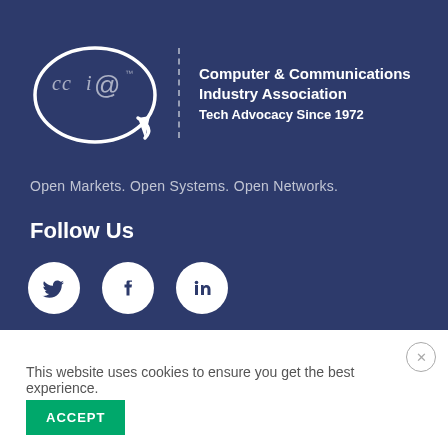[Figure (logo): CCIA logo with oval and stylized 'ccia@' text, beside 'Computer & Communications Industry Association' and 'Tech Advocacy Since 1972']
Open Markets. Open Systems. Open Networks.
Follow Us
[Figure (infographic): Three social media icons: Twitter bird, Facebook f, LinkedIn in — white circles on dark blue background]
This website uses cookies to ensure you get the best experience.
ACCEPT